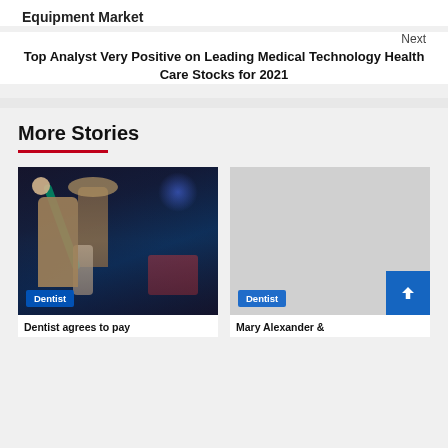Equipment Market
Next
Top Analyst Very Positive on Leading Medical Technology Health Care Stocks for 2021
More Stories
[Figure (photo): People exercising with resistance bands in a gym class]
Dentist
[Figure (photo): Gray placeholder image for second story]
Dentist
Dentist agrees to pay
Mary Alexander &